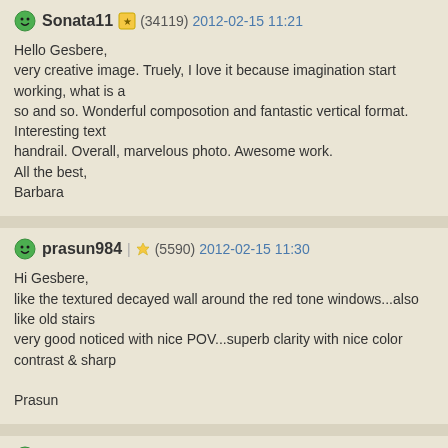Sonata11 (34119) 2012-02-15 11:21
Hello Gesbere,
very creative image. Truely, I love it because imagination start working, what is a so and so. Wonderful composotion and fantastic vertical format. Interesting text handrail. Overall, marvelous photo. Awesome work.
All the best,
Barbara
prasun984 (5590) 2012-02-15 11:30
Hi Gesbere,
like the textured decayed wall around the red tone windows...also like old stairs very good noticed with nice POV...superb clarity with nice color contrast & sharp
Prasun
baclama (19214) 2012-02-15 12:08
coucou,
tu vois que tu arrivez à te renouveller;-))
tu peux acheter un nouvel objectif!!!
fais tirer 3 photos en 20x30 pour le concours avec d'aussi belles couleurs que d